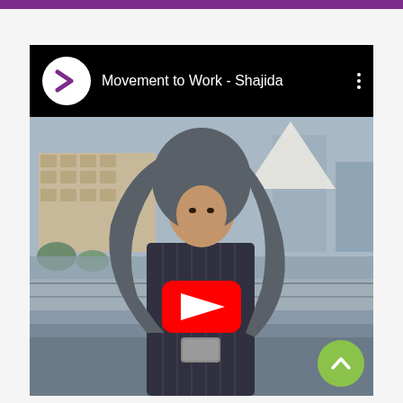[Figure (screenshot): YouTube video embed showing 'Movement to Work - Shajida' with channel icon (Accenture-style > logo in purple on white circle), black header bar, and thumbnail showing a young woman in a grey hijab and pinstripe blazer looking at her phone, with London cityscape in background. A YouTube red play button is overlaid in the center, and a green scroll-up button is in the bottom right.]